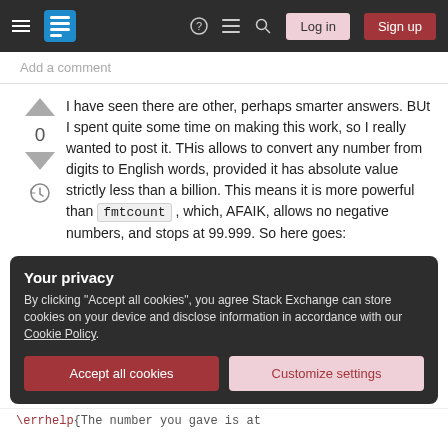Stack Exchange navigation bar with hamburger menu, logo, help, chat, search icons, Log in and Sign up buttons
Add a comment
I have seen there are other, perhaps smarter answers. BUt I spent quite some time on making this work, so I really wanted to post it. THis allows to convert any number from digits to English words, provided it has absolute value strictly less than a billion. This means it is more powerful than fmtcount , which, AFAIK, allows no negative numbers, and stops at 99.999. So here goes:
Your privacy
By clicking "Accept all cookies", you agree Stack Exchange can store cookies on your device and disclose information in accordance with our Cookie Policy.
Accept all cookies  Customize settings
\errhelp{The number you gave is at